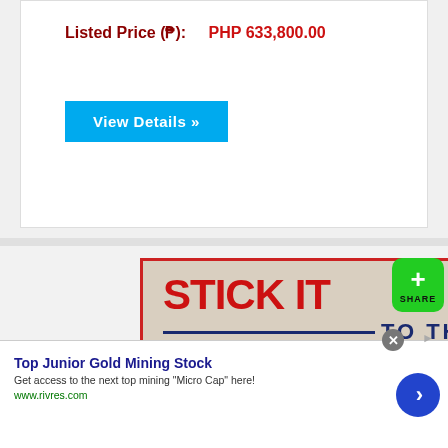Listed Price (₱):    PHP 633,800.00
View Details »
[Figure (illustration): Advertisement image with text 'STICK IT TO THE ENEMY' in bold red and dark blue letters, with a person wearing a medical mask on the right side. Vintage poster style with beige background and red border.]
SHARE
Top Junior Gold Mining Stock
Get access to the next top mining "Micro Cap" here!
www.rivres.com